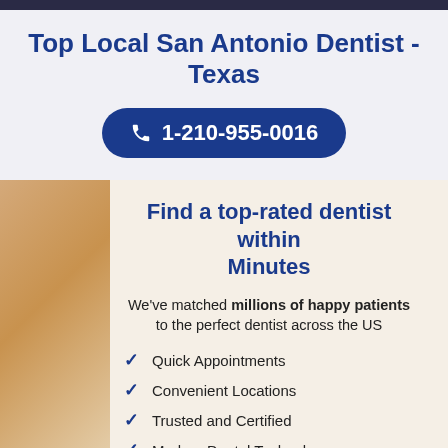Top Local San Antonio Dentist - Texas
1-210-955-0016
Find a top-rated dentist within Minutes
We've matched millions of happy patients to the perfect dentist across the US
Quick Appointments
Convenient Locations
Trusted and Certified
Modern Dental Technology